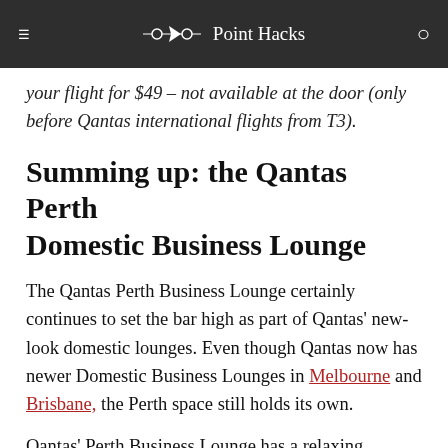Point Hacks
your flight for $49 – not available at the door (only before Qantas international flights from T3).
Summing up: the Qantas Perth Domestic Business Lounge
The Qantas Perth Business Lounge certainly continues to set the bar high as part of Qantas' new-look domestic lounges. Even though Qantas now has newer Domestic Business Lounges in Melbourne and Brisbane, the Perth space still holds its own.
Qantas' Perth Business Lounge has a relaxing ambience and 'premium' feel to it, complete with high-quality furnishings and amenities. We have absolutely no qualms with the WiFi speed either. Future international passengers will certainly find this lounge